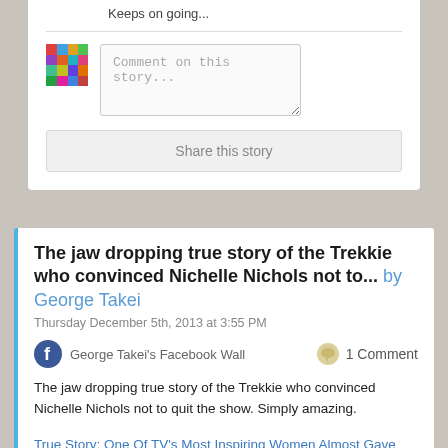Keeps on going...
[Figure (photo): Colorful mosaic/avatar image]
Comment on this story...
Share this story
The jaw dropping true story of the Trekkie who convinced Nichelle Nichols not to... by George Takei
Thursday December 5th, 2013 at 3:55 PM
George Takei's Facebook Wall
1 Comment
The jaw dropping true story of the Trekkie who convinced Nichelle Nichols not to quit the show. Simply amazing.
True Story: One Of TV's Most Inspiring Women Almost Gave Up. Guess Who Persuaded Her Not To?
www.upworthy.com
He might be the most important Trekkie ever.